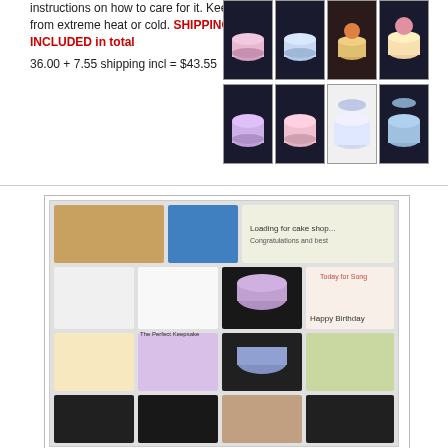instructions on how to care for it. Keep from extreme heat or cold. SHIPPING INCLUDED in total
36.00 + 7.55 shipping incl = $43.55
[Figure (photo): Grid of 8 cake photos in two rows of 4, showing decorated cakes on dark backgrounds]
[Figure (photo): Collage image showing multiple musical cake keepsakes and product information]
Musicakes / Musical Cakes (keepsake or commemorative sculpted smaller inedible cake)  ONE OF A KIND PERSONALIZED. Worthy of a coffee table placement or featured in a china closet.
$52.55  $43.55  Add to Cart